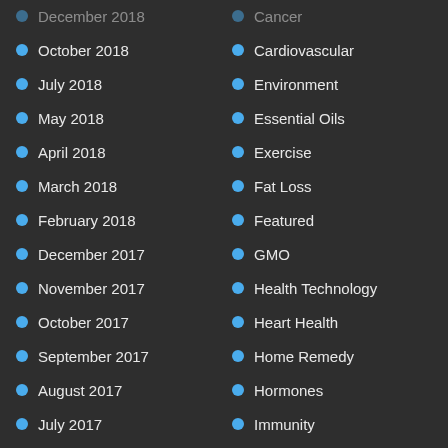December 2018
Cancer
October 2018
Cardiovascular
July 2018
Environment
May 2018
Essential Oils
April 2018
Exercise
March 2018
Fat Loss
February 2018
Featured
December 2017
GMO
November 2017
Health Technology
October 2017
Heart Health
September 2017
Home Remedy
August 2017
Hormones
July 2017
Immunity
June 2017
Longevity
May 2017
Mushrooms